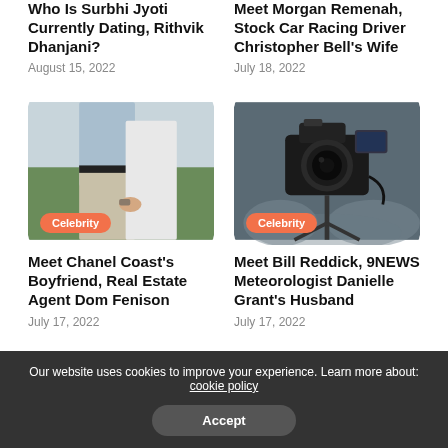Who Is Surbhi Jyoti Currently Dating, Rithvik Dhanjani?
August 15, 2022
Meet Morgan Remenah, Stock Car Racing Driver Christopher Bell's Wife
July 18, 2022
[Figure (photo): Couple holding hands outdoors, man in light blue shirt and khaki pants]
Celebrity
Meet Chanel Coast's Boyfriend, Real Estate Agent Dom Fenison
July 17, 2022
[Figure (photo): Professional video camera on tripod at event]
Celebrity
Meet Bill Reddick, 9NEWS Meteorologist Danielle Grant's Husband
July 17, 2022
Our website uses cookies to improve your experience. Learn more about: cookie policy
Accept